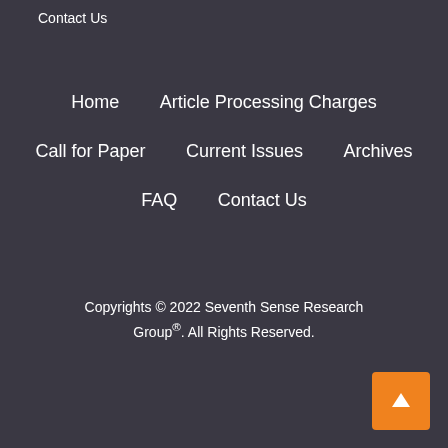Contact Us
Home
Article Processing Charges
Call for Paper
Current Issues
Archives
FAQ
Contact Us
Copyrights © 2022 Seventh Sense Research Group®. All Rights Reserved.